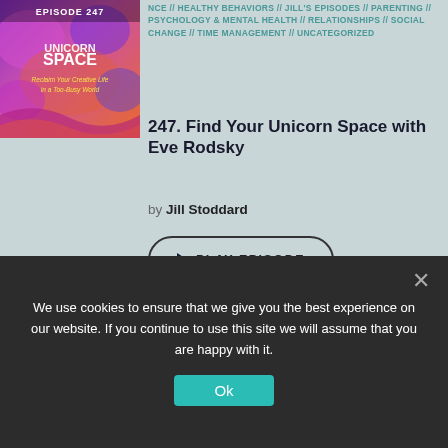[Figure (illustration): Book cover for Unicorn Space: Reclaim Your Creative Life in a Busy World, Episode 247, colorful purple/pink/blue artwork]
NCE // HEALTHY BEHAVIORS // JILL'S EPISODES // PARENTING // PSYCHOLOGY & MENTAL HEALTH // RELATIONSHIPS // SOCIAL CHANGE // TIME MANAGEMENT // UNCATEGORIZED
247. Find Your Unicorn Space with Eve Rodsky
by Jill Stoddard
▶ PLAY EPISODE
[Figure (illustration): Episode 235 cover art for The Urge - Our History, dark background with decorative elements]
ACCEPTANCE AND COMMITMENT THERAPY // ADDICTION // ALL EPISODES // COMPASSION AND MINDFULNESS // FOR THERAPISTS // HEALTHY BEHAVIORS // PSYCHOLOGY & MENTAL HEALTH //
We use cookies to ensure that we give you the best experience on our website. If you continue to use this site we will assume that you are happy with it.
Ok